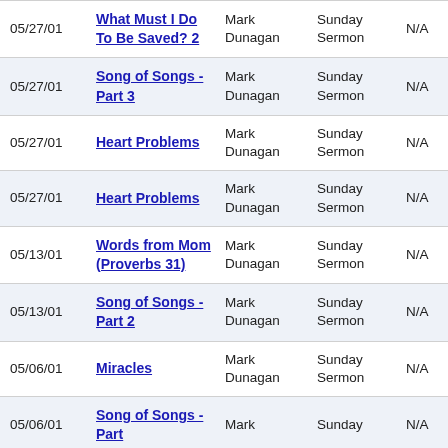| Date | Title | Speaker | Type | Media |
| --- | --- | --- | --- | --- |
| 05/27/01 | What Must I Do To Be Saved? 2 | Mark Dunagan | Sunday Sermon | N/A |
| 05/27/01 | Song of Songs - Part 3 | Mark Dunagan | Sunday Sermon | N/A |
| 05/27/01 | Heart Problems | Mark Dunagan | Sunday Sermon | N/A |
| 05/27/01 | Heart Problems | Mark Dunagan | Sunday Sermon | N/A |
| 05/13/01 | Words from Mom (Proverbs 31) | Mark Dunagan | Sunday Sermon | N/A |
| 05/13/01 | Song of Songs - Part 2 | Mark Dunagan | Sunday Sermon | N/A |
| 05/06/01 | Miracles | Mark Dunagan | Sunday Sermon | N/A |
| 05/06/01 | Song of Songs - Part ... | Mark | Sunday | N/A |